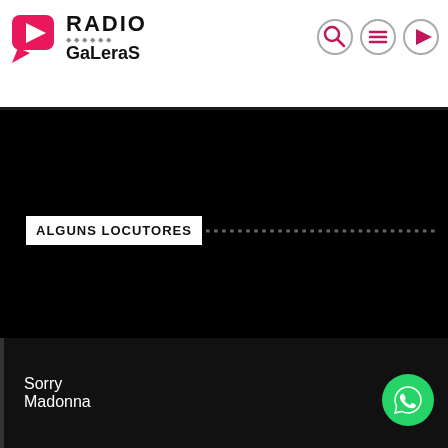[Figure (logo): Radio GaLeraS logo with pink speech bubble icon containing play triangle, bold RADIO text, small people silhouettes, and GaLeraS text]
[Figure (other): Navigation icons: search magnifying glass, hamburger menu, and play button — each in a circle outline]
[Figure (other): Large black background section occupying most of the page]
ALGUNS LOCUTORES
Sorry
Madonna
[Figure (other): WhatsApp green circular button with white phone icon]